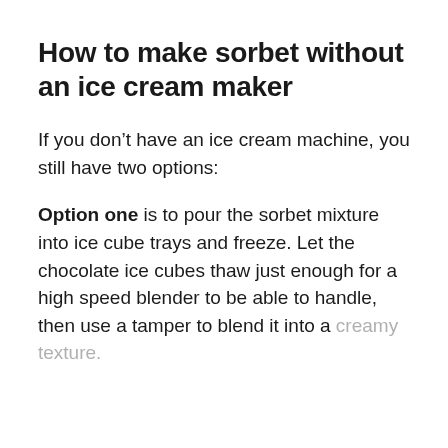How to make sorbet without an ice cream maker
If you don’t have an ice cream machine, you still have two options:
Option one is to pour the sorbet mixture into ice cube trays and freeze. Let the chocolate ice cubes thaw just enough for a high speed blender to be able to handle, then use a tamper to blend it into a creamy texture.